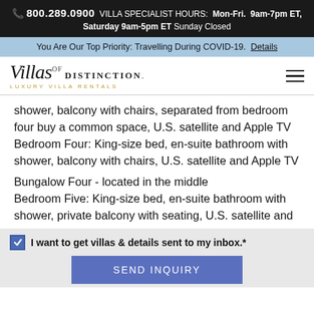📞 800.289.0900  VILLA SPECIALIST HOURS:  Mon-Fri.  9am-7pm ET, Saturday 9am-5pm ET  Sunday Closed
You Are Our Top Priority: Travelling During COVID-19. Details
[Figure (logo): Villas of Distinction Luxury Villa Rentals logo with hamburger menu icon]
shower, balcony with chairs, separated from bedroom four buy a common space, U.S. satellite and Apple TV Bedroom Four: King-size bed, en-suite bathroom with shower, balcony with chairs, U.S. satellite and Apple TV
Bungalow Four - located in the middle
Bedroom Five: King-size bed, en-suite bathroom with shower, private balcony with seating, U.S. satellite and
I want to get villas & details sent to my inbox.*
SEND INQUIRY